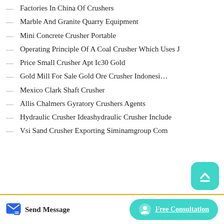— Factories In China Of Crushers
— Marble And Granite Quarry Equipment
— Mini Concrete Crusher Portable
— Operating Principle Of A Coal Crusher Which Uses J
— Price Small Crusher Apt Ic30 Gold
— Gold Mill For Sale Gold Ore Crusher Indonesia
— Mexico Clark Shaft Crusher
— Allis Chalmers Gyratory Crushers Agents
— Hydraulic Crusher Ideashydraulic Crusher Include
— Vsi Sand Crusher Exporting Siminamgroup Com